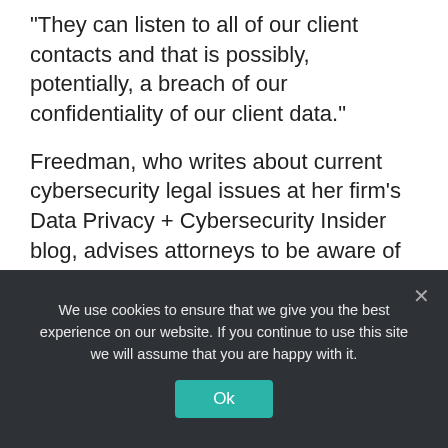"They can listen to all of our client contacts and that is possibly, potentially, a breach of our confidentiality of our client data."
Freedman, who writes about current cybersecurity legal issues at her firm's Data Privacy + Cybersecurity Insider blog, advises attorneys to be aware of the presence of these devices whenever they are discussing a client matter and then to take steps to eliminate whatever threats to their client's confidential information arises under the circumstances.
We use cookies to ensure that we give you the best experience on our website. If you continue to use this site we will assume that you are happy with it.